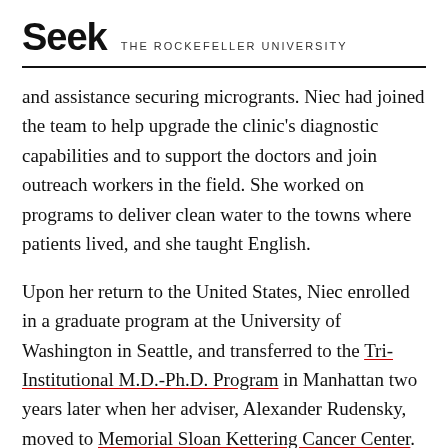Seek THE ROCKEFELLER UNIVERSITY
and assistance securing microgrants. Niec had joined the team to help upgrade the clinic's diagnostic capabilities and to support the doctors and join outreach workers in the field. She worked on programs to deliver clean water to the towns where patients lived, and she taught English.
Upon her return to the United States, Niec enrolled in a graduate program at the University of Washington in Seattle, and transferred to the Tri-Institutional M.D.-Ph.D. Program in Manhattan two years later when her adviser, Alexander Rudensky, moved to Memorial Sloan Kettering Cancer Center. She finished her medical training at Weill Cornell Medicine, including a residency in internal medicine and a gastroenterology